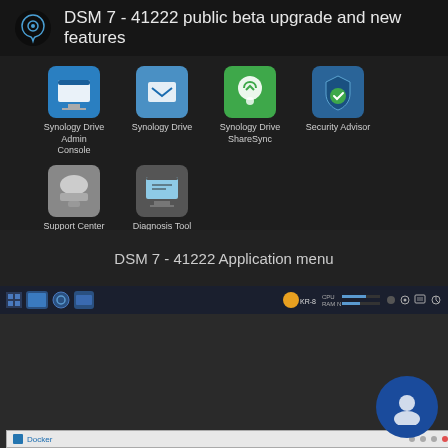DSM 7 - 41222 public beta upgrade and new features
[Figure (screenshot): Synology DSM 7 application menu showing icons: Synology Drive Admin Console, Synology Drive, Synology Drive ShareSync, Security Advisor, Support Center, Diagnosis Tool on a dark textured background]
DSM 7 - 41222 Application menu
[Figure (screenshot): DSM 7 Resource Monitor window showing Performance sidebar with CPU, Memory, and Network line charts. CPU chart shows utilization (%) with spike, Memory shows flat filled area at about 30%, Network shows spike at 4.5 Kb/s. Task manager and other sidebar items visible.]